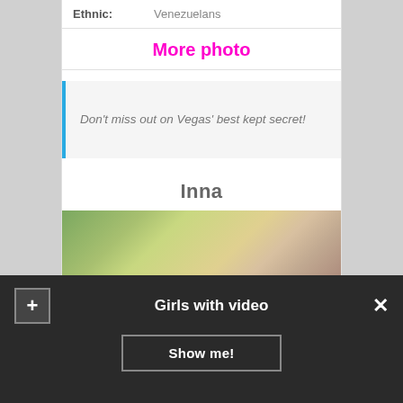Ethnic: Venezuelans
More photo
Don't miss out on Vegas' best kept secret!
Inna
[Figure (photo): Blonde woman posing indoors near window with greenery in background]
Girls with video
Show me!